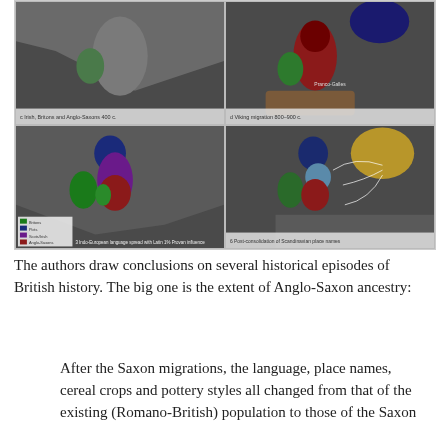[Figure (map): Four-panel map showing historical migrations to Britain: c. Irish, Britons and Anglo-Saxons (top-left), Viking migration (top-right), Indo-European language spread with Latin influence (bottom-left), Post-consolidation of Scandinavian place names (bottom-right). Maps show British Isles with colored regions indicating different cultural/ethnic territories.]
The authors draw conclusions on several historical episodes of British history. The big one is the extent of Anglo-Saxon ancestry:
After the Saxon migrations, the language, place names, cereal crops and pottery styles all changed from that of the existing (Romano-British) population to those of the Saxon